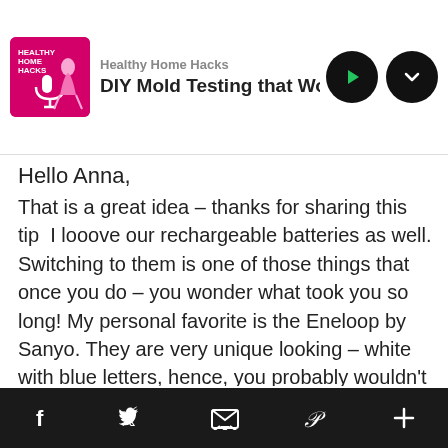Healthy Home Hacks — DIY Mold Testing that Won't Break th
Hello Anna,
That is a great idea – thanks for sharing this tip  I looove our rechargeable batteries as well. Switching to them is one of those things that once you do – you wonder what took you so long! My personal favorite is the Eneloop by Sanyo. They are very unique looking – white with blue letters, hence, you probably wouldn't need to label them. Sanyo also offers adapters for the charger itself that fit any size battery!
f  [twitter]  [email]  [pinterest]  +